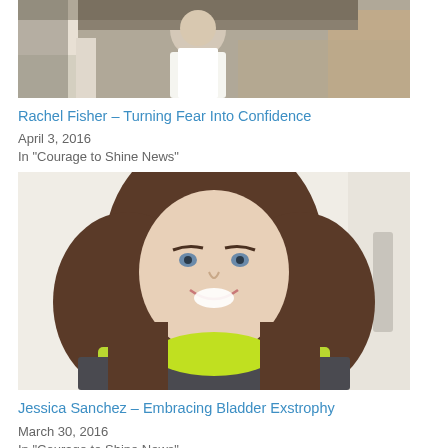[Figure (photo): Group photo of people seated and standing in a room, including a man in a white polo shirt]
Rachel Fisher – Turning Fear Into Confidence
April 3, 2016
In "Courage to Shine News"
[Figure (photo): Selfie of a young woman with brown bob hair, smiling, wearing a bright green top]
Jessica Sanchez – Embracing Bladder Exstrophy
March 30, 2016
In "Courage to Shine News"